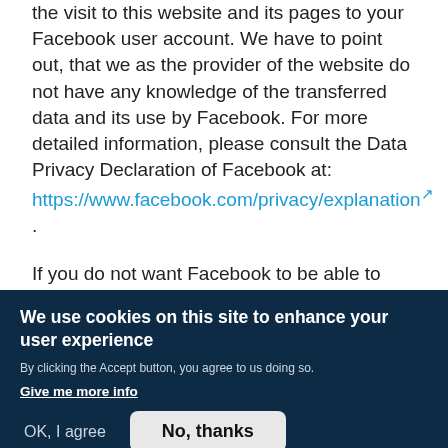the visit to this website and its pages to your Facebook user account. We have to point out, that we as the provider of the website do not have any knowledge of the transferred data and its use by Facebook. For more detailed information, please consult the Data Privacy Declaration of Facebook at: https://www.facebook.com/privacy/explanation .
If you do not want Facebook to be able to allocate your visit to this website and its pages to your Facebook user account, please log out of your Facebook account while you are on this website.
We use cookies on this site to enhance your user experience
By clicking the Accept button, you agree to us doing so.
Give me more info
OK, I agree
No, thanks